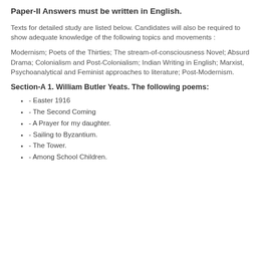Paper-II Answers must be written in English.
Texts for detailed study are listed below. Candidates will also be required to show adequate knowledge of the following topics and movements :
Modernism; Poets of the Thirties; The stream-of-consciousness Novel; Absurd Drama; Colonialism and Post-Colonialism; Indian Writing in English; Marxist, Psychoanalytical and Feminist approaches to literature; Post-Modernism.
Section-A 1. William Butler Yeats. The following poems:
- Easter 1916
- The Second Coming
- A Prayer for my daughter.
- Sailing to Byzantium.
- The Tower.
- Among School Children.